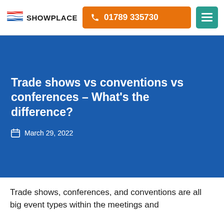SHOWPLACE | 01789 335730
Trade shows vs conventions vs conferences – What's the difference?
March 29, 2022
Trade shows, conferences, and conventions are all big event types within the meetings and